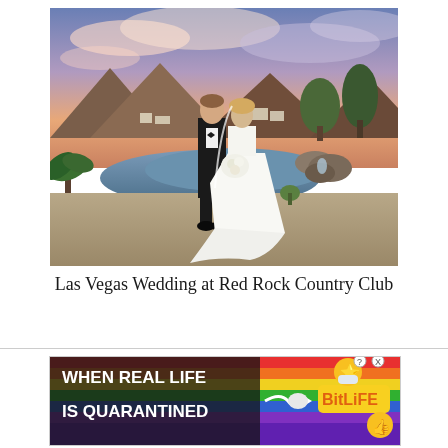[Figure (photo): Wedding photo of a bride and groom standing together near a pond with a waterfall, mountains and a colorful sunset sky in the background at Red Rock Country Club, Las Vegas.]
Las Vegas Wedding at Red Rock Country Club
[Figure (other): Advertisement banner for BitLife game: 'WHEN REAL LIFE IS QUARANTINED' with rainbow colors, arrow, BitLife logo, and emoji characters. Has close and help buttons.]